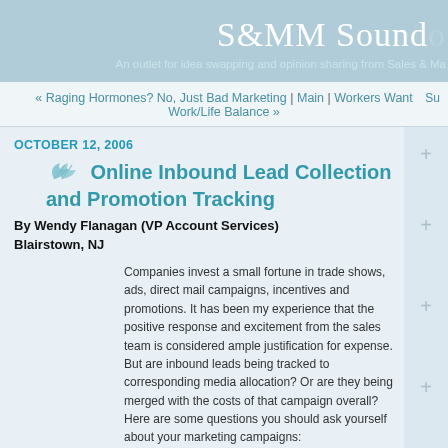S&MM Soundoff — An outlet for idea swapping and opinion sharing from Sales & Marketing Management
« Raging Hormones? No, Just Bad Marketing | Main | Workers Want Work/Life Balance »
OCTOBER 12, 2006
Online Inbound Lead Collection and Promotion Tracking
By Wendy Flanagan (VP Account Services)
Blairstown, NJ
Companies invest a small fortune in trade shows, ads, direct mail campaigns, incentives and promotions. It has been my experience that the positive response and excitement from the sales team is considered ample justification for expense. But are inbound leads being tracked to corresponding media allocation? Or are they being merged with the costs of that campaign overall? Here are some questions you should ask yourself about your marketing campaigns:
* Are the costs per lead being linked to the specific promotion or incentive in real time? Collecting and distributing leads is a multi-channel effort. What tool sets are being used online to track the ROI of individual promotions?